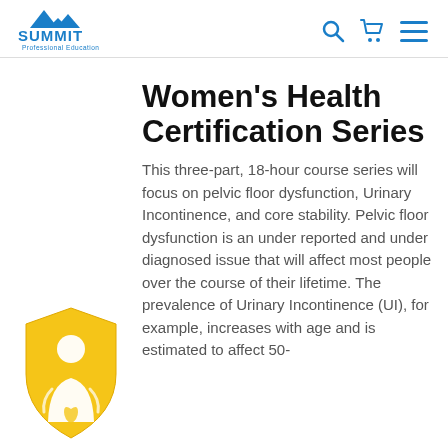SUMMIT Professional Education
[Figure (logo): Summit Professional Education logo with mountain peaks icon and bold blue text]
Women's Health Certification Series
This three-part, 18-hour course series will focus on pelvic floor dysfunction, Urinary Incontinence, and core stability. Pelvic floor dysfunction is an under reported and under diagnosed issue that will affect most people over the course of their lifetime. The prevalence of Urinary Incontinence (UI), for example, increases with age and is estimated to affect 50-
[Figure (illustration): Gold shield icon with a woman figure inside, representing women's health]